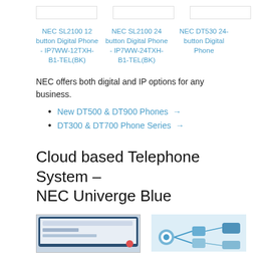NEC SL2100 12 button Digital Phone - IP7WW-12TXH-B1-TEL(BK)
NEC SL2100 24 button Digital Phone - IP7WW-24TXH-B1-TEL(BK)
NEC DT530 24-button Digital Phone
NEC offers both digital and IP options for any business.
New DT500 & DT900 Phones →
DT300 & DT700 Phone Series →
Cloud based Telephone System – NEC Univerge Blue
[Figure (screenshot): Screenshot of a device interface, partially visible at bottom of page]
[Figure (network-graph): Network/cloud diagram with icons, partially visible at bottom of page]